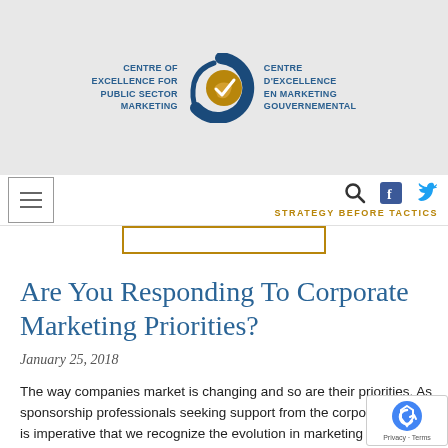[Figure (logo): Centre of Excellence for Public Sector Marketing logo with circular emblem and bilingual text]
STRATEGY BEFORE TACTICS
[Figure (screenshot): Navigation bar with hamburger menu, search icon, Facebook icon, Twitter icon, and search bar]
Are You Responding To Corporate Marketing Priorities?
January 25, 2018
The way companies market is changing and so are their priorities. As sponsorship professionals seeking support from the corporate sector, it is imperative that we recognize the evolution in marketing and build more meaningful partnerships that address corporate objectives head-on. From what I've read